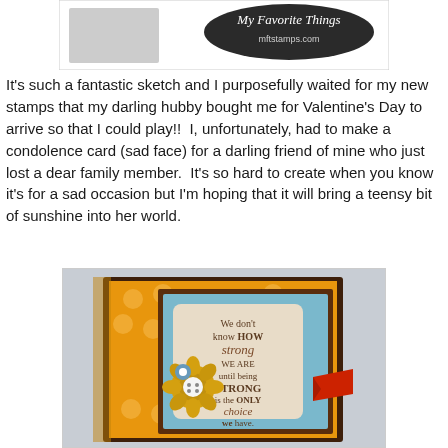[Figure (photo): Top portion of a My Favorite Things (mftstamps.com) logo/banner image with a rectangular card sketch preview]
It's such a fantastic sketch and I purposefully waited for my new stamps that my darling hubby bought me for Valentine's Day to arrive so that I could play!!  I, unfortunately, had to make a condolence card (sad face) for a darling friend of mine who just lost a dear family member.  It's so hard to create when you know it's for a sad occasion but I'm hoping that it will bring a teensy bit of sunshine into her world.
[Figure (photo): A handmade greeting card with orange polka-dot patterned paper background, blue inner panel, decorative flower embellishments with button, red flag/banner, and stamped text reading: We don't know HOW strong WE ARE until being STRONG is the ONLY choice we have.]